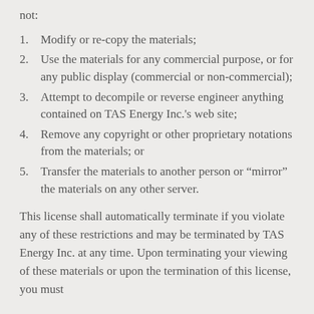not:
Modify or re-copy the materials;
Use the materials for any commercial purpose, or for any public display (commercial or non-commercial);
Attempt to decompile or reverse engineer anything contained on TAS Energy Inc.'s web site;
Remove any copyright or other proprietary notations from the materials; or
Transfer the materials to another person or “mirror” the materials on any other server.
This license shall automatically terminate if you violate any of these restrictions and may be terminated by TAS Energy Inc. at any time. Upon terminating your viewing of these materials or upon the termination of this license, you must